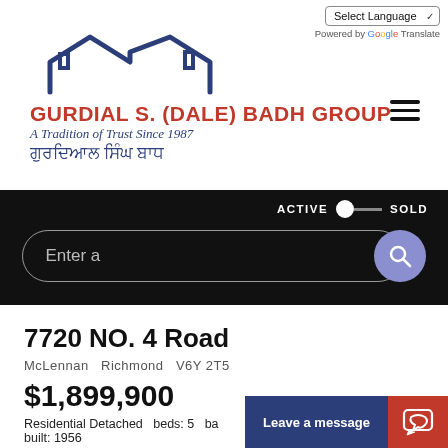[Figure (logo): Gurdial S. (Dale) Badh Group real estate logo with roofline SVG graphic, brand name in red, tagline in dark blue italic, and Punjabi text]
Select Language (dropdown) Powered by Google Translate
[Figure (screenshot): Black search bar section with ACTIVE/SOLD toggle and search input box with purple search button]
7720 NO. 4 Road
McLennan  Richmond  V6Y 2T5
$1,899,900
Residential Detached  beds: 5  ba-  built: 1956
Leave a message